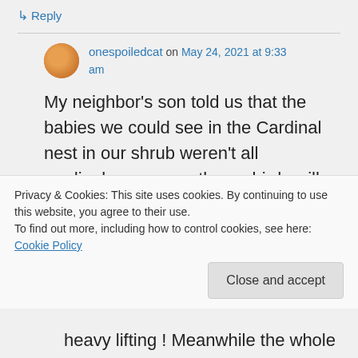↳ Reply
onespoiledcat on May 24, 2021 at 9:33 am
My neighbor's son told us that the babies we could see in the Cardinal nest in our shrub weren't all cardinals....apparently cowbirds will lay their eggs in someone else's nest and let THEM do the work to
Privacy & Cookies: This site uses cookies. By continuing to use this website, you agree to their use.
To find out more, including how to control cookies, see here: Cookie Policy
Close and accept
heavy lifting ! Meanwhile the whole